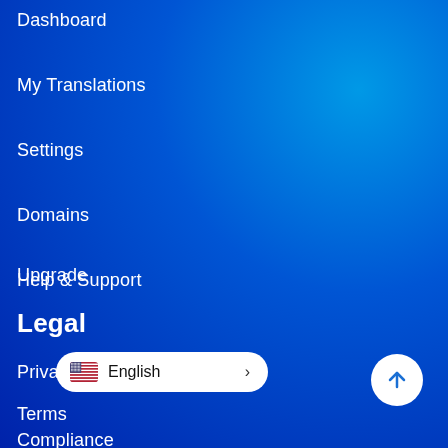Dashboard
My Translations
Settings
Domains
Upgrade
Help & Support
Legal
Privacy
Terms
Compliance
[Figure (screenshot): Language selector pill showing US flag and 'English' with a chevron arrow]
[Figure (other): Circular white scroll-to-top button with upward arrow icon]